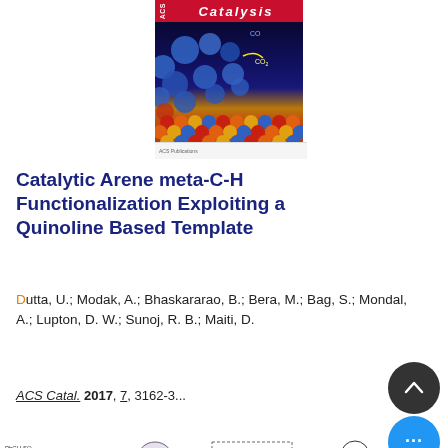[Figure (illustration): ACS Catalysis journal cover showing molecules and catalyst surface with CO2 labels]
Catalytic Arene meta-C-H Functionalization Exploiting a Quinoline Based Template
Dutta, U.; Modak, A.; Bhaskararao, B.; Bera, M.; Bag, S.; Mondal, A.; Lupton, D. W.; Sunoj, R. B.; Maiti, D.
ACS Catal. 2017, 7, 3162-3...
[Figure (illustration): Reaction scheme showing C-H activation mechanism with palladium catalyst, 42 examples noted]